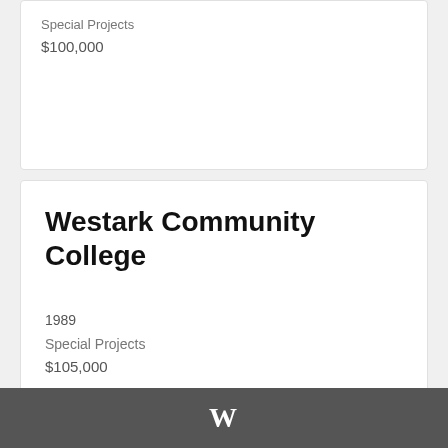Special Projects
$100,000
Westark Community College
1989
Special Projects
$105,000
1 of 1
[Figure (logo): W logo mark in white on dark gray footer bar]